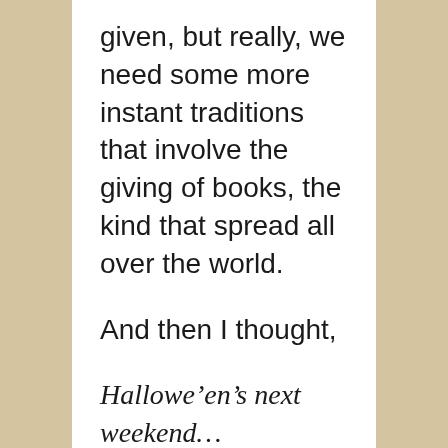given, but really, we need some more instant traditions that involve the giving of books, the kind that spread all over the world.
And then I thought,
Hallowe’en’s next weekend…